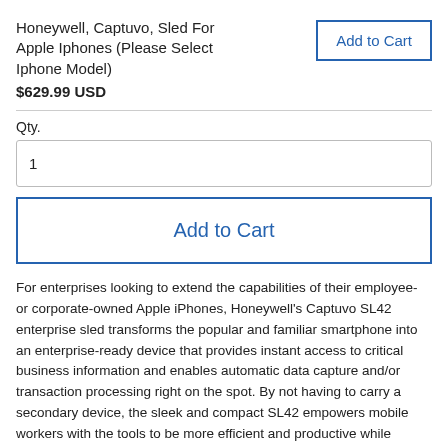Honeywell, Captuvo, Sled For Apple Iphones (Please Select Iphone Model)
$629.99 USD
Qty.
1
Add to Cart
For enterprises looking to extend the capabilities of their employee- or corporate-owned Apple iPhones, Honeywell's Captuvo SL42 enterprise sled transforms the popular and familiar smartphone into an enterprise-ready device that provides instant access to critical business information and enables automatic data capture and/or transaction processing right on the spot. By not having to carry a secondary device, the sleek and compact SL42 empowers mobile workers with the tools to be more efficient and productive while